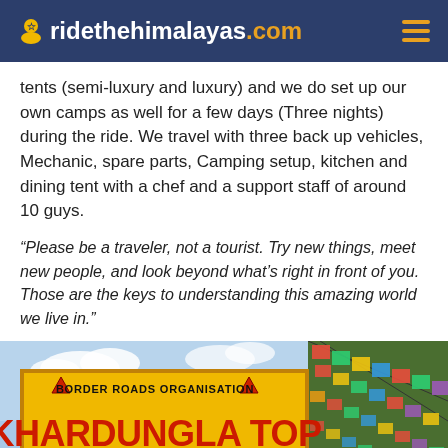ridethehimalayas.com
tents (semi-luxury and luxury) and we do set up our own camps as well for a few days (Three nights) during the ride. We travel with three back up vehicles, Mechanic, spare parts, Camping setup, kitchen and dining tent with a chef and a support staff of around 10 guys.
“Please be a traveler, not a tourist. Try new things, meet new people, and look beyond what’s right in front of you. Those are the keys to understanding this amazing world we live in.”
[Figure (photo): Photo of the Khardungla Top sign board (Border Roads Organisation) at 17,982 Feet, described as Highest Motorable Road in the World, with colorful prayer flags visible on the right side and a blue sky background.]